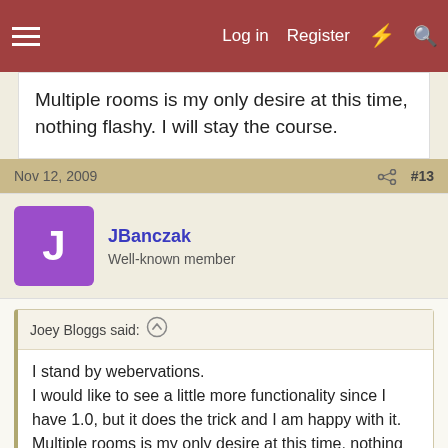Log in  Register
Multiple rooms is my only desire at this time, nothing flashy. I will stay the course.
Nov 12, 2009  #13
JBanczak
Well-known member
Joey Bloggs said: ↑
I stand by webervations.
I would like to see a little more functionality since I have 1.0, but it does the trick and I am happy with it. Multiple rooms is my only desire at this time, nothing flashy. I will stay the course..
Joey Bloggs said:
I stand by webervations.
I would like to see a little more functionality since I have